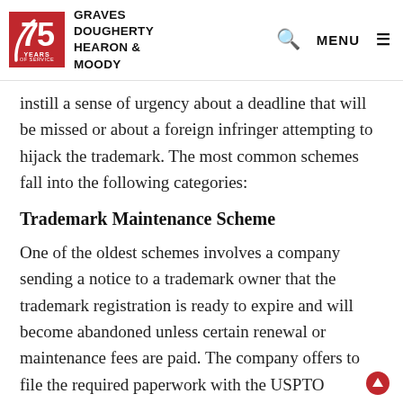[Figure (logo): Graves Dougherty Hearon & Moody law firm header logo with 75 Years of Service red badge and firm name, plus search and menu icons]
instill a sense of urgency about a deadline that will be missed or about a foreign infringer attempting to hijack the trademark. The most common schemes fall into the following categories:
Trademark Maintenance Scheme
One of the oldest schemes involves a company sending a notice to a trademark owner that the trademark registration is ready to expire and will become abandoned unless certain renewal or maintenance fees are paid. The company offers to file the required paperwork with the USPTO...